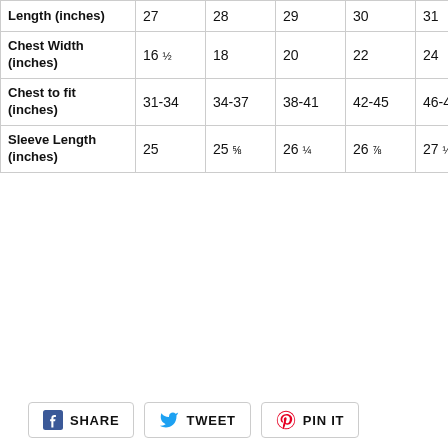|  | 27 | 28 | 29 | 30 | 31 | 32 |
| --- | --- | --- | --- | --- | --- | --- |
| Length (inches) | 27 | 28 | 29 | 30 | 31 | 32 |
| Chest Width (inches) | 16 ½ | 18 | 20 | 22 | 24 | 26 |
| Chest to fit (inches) | 31-34 | 34-37 | 38-41 | 42-45 | 46-49 | 50-53 |
| Sleeve Length (inches) | 25 | 25 ⅝ | 26 ¼ | 26 ⅞ | 27 ½ | 28 ⅛ |
SHARE  TWEET  PIN IT